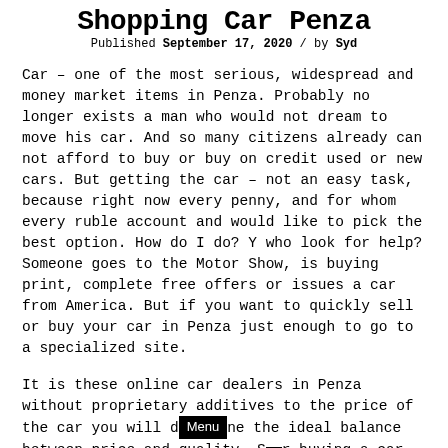Shopping Car Penza
Published September 17, 2020 / by Syd
Car – one of the most serious, widespread and money market items in Penza. Probably no longer exists a man who would not dream to move his car. And so many citizens already can not afford to buy or buy on credit used or new cars. But getting the car – not an easy task, because right now every penny, and for whom every ruble account and would like to pick the best option. How do I do? Y who look for help? Someone goes to the Motor Show, is buying print, complete free offers or issues a car from America. But if you want to quickly sell or buy your car in Penza just enough to go to a specialized site.
It is these online car dealers in Penza without proprietary additives to the price of the car you will d[Menu]ne the ideal balance between price and quality. S[Menu]r buying a car Online free classified ads in Penza may at first seem the cheapest way to solve